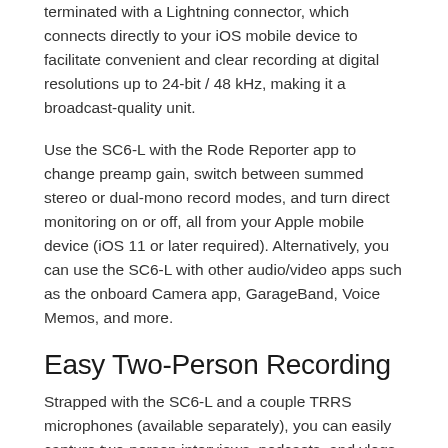terminated with a Lightning connector, which connects directly to your iOS mobile device to facilitate convenient and clear recording at digital resolutions up to 24-bit / 48 kHz, making it a broadcast-quality unit.
Use the SC6-L with the Rode Reporter app to change preamp gain, switch between summed stereo or dual-mono record modes, and turn direct monitoring on or off, all from your Apple mobile device (iOS 11 or later required). Alternatively, you can use the SC6-L with other audio/video apps such as the onboard Camera app, GarageBand, Voice Memos, and more.
Easy Two-Person Recording
Strapped with the SC6-L and a couple TRRS microphones (available separately), you can easily capture two-person interviews, podcasts, and vlogs to your Lightning-equipped Apple mobile device in record time.